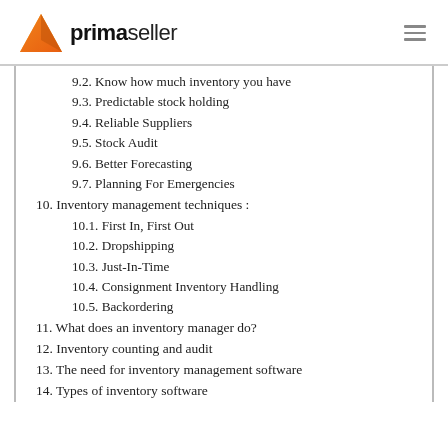primaseller
9.2. Know how much inventory you have
9.3. Predictable stock holding
9.4. Reliable Suppliers
9.5. Stock Audit
9.6. Better Forecasting
9.7. Planning For Emergencies
10. Inventory management techniques :
10.1. First In, First Out
10.2. Dropshipping
10.3. Just-In-Time
10.4. Consignment Inventory Handling
10.5. Backordering
11. What does an inventory manager do?
12. Inventory counting and audit
13. The need for inventory management software
14. Types of inventory software